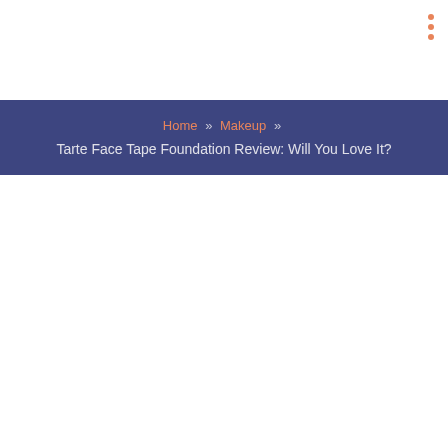⋮
Home » Makeup » Tarte Face Tape Foundation Review: Will You Love It?